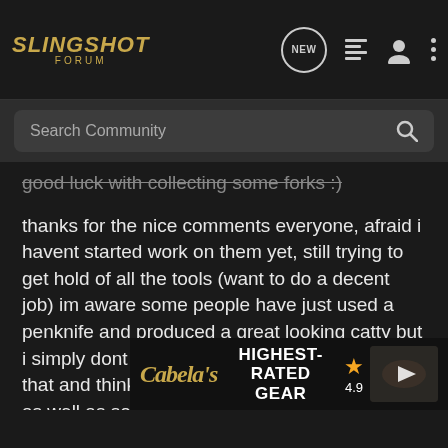[Figure (screenshot): Slingshot Forum navigation bar with logo, NEW bubble icon, list icon, user icon, and dots menu icon]
[Figure (screenshot): Search Community search bar with magnifying glass icon]
good luck with collecting some forks :)
thanks for the nice comments everyone, afraid i havent started work on them yet, still trying to get hold of all the tools (want to do a decent job) im aware some people have just used a penknife and produced a great looking catty but i simply dont have the time or experience for that and think a good rasp, files and sandpaper as well as some linseed oil/varnish would suit me nicely. as regards the size i take to heart the saying "you can always cut more off but you cant cut it on" the forks ive cut vary between 17cm-25cm so plenty of room to work with.
on a side note ive currently got some freelance design work which will be paying fairly nicely so will probably treat myself to a scroll saw at some point in the not too distant future no doubt.
[Figure (screenshot): Cabela's advertisement banner: HIGHEST-RATED GEAR with 4.9 star rating and product image with play button]